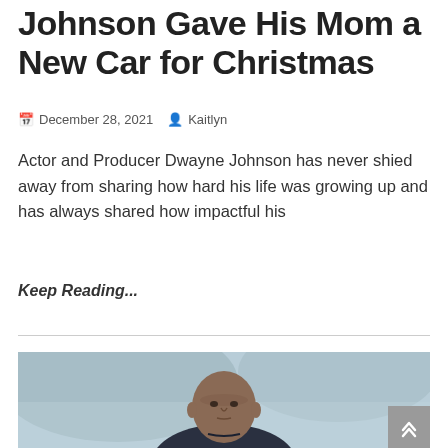Johnson Gave His Mom a New Car for Christmas
December 28, 2021  Kaitlyn
Actor and Producer Dwayne Johnson has never shied away from sharing how hard his life was growing up and has always shared how impactful his
Keep Reading...
[Figure (photo): Photo of Dwayne Johnson, a bald muscular man, looking intensely at the camera, with a blurred mountainous green background. He is wearing a dark shirt.]